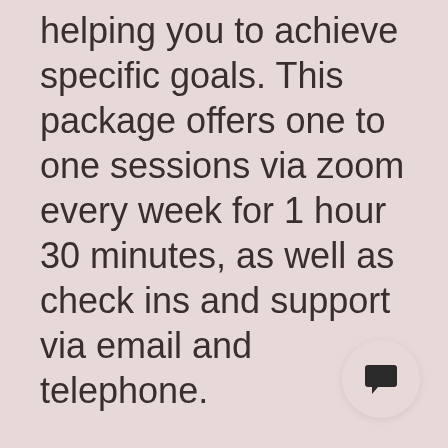helping you to achieve specific goals. This package offers one to one sessions via zoom every week for 1 hour 30 minutes, as well as check ins and support via email and telephone.
[Figure (illustration): A circular button with a chat/message bubble icon (filled black) on a light pinkish-beige background]